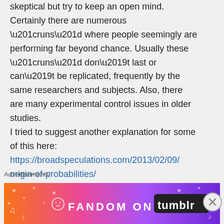skeptical but try to keep an open mind. Certainly there are numerous “runs” where people seemingly are performing far beyond chance. Usually these “runs” don’t last or can’t be replicated, frequently by the same researchers and subjects. Also, there are many experimental control issues in older studies.
I tried to suggest another explanation for some of this here:
https://broadspeculations.com/2013/02/09/origin-of-probabilities/
Advertisements
[Figure (illustration): Colorful advertisement banner for 'Fandom on Tumblr' with gradient orange-to-purple background and decorative icons]